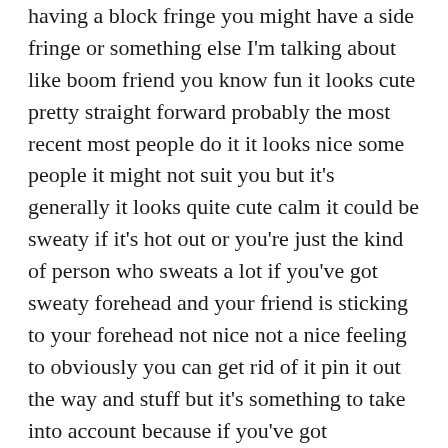having a block fringe you might have a side fringe or something else I'm talking about like boom friend you know fun it looks cute pretty straight forward probably the most recent most people do it it looks nice some people it might not suit you but it's generally it looks quite cute calm it could be sweaty if it's hot out or you're just the kind of person who sweats a lot if you've got sweaty forehead and your friend is sticking to your forehead not nice not a nice feeling to obviously you can get rid of it pin it out the way and stuff but it's something to take into account because if you've got something touching your head when you're already feeling hot maybe it'll get sticky and gross and you weren't like the feeling of that if you want to test a friend out you can buy like little clip-on fringes before you cut it in so you can test out what it feels like it probably won't be exactly like a real